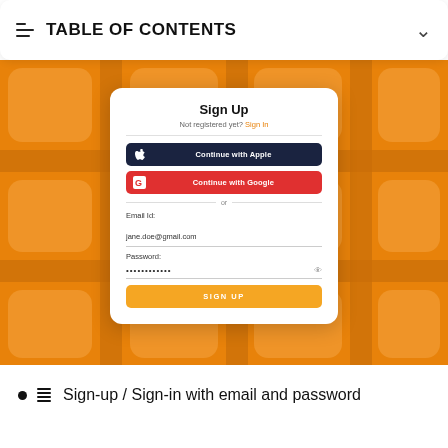TABLE OF CONTENTS
[Figure (screenshot): Sign Up form UI with apple and google login buttons, email and password fields, and a sign up button on an orange tiled background]
Sign-up / Sign-in with email and password